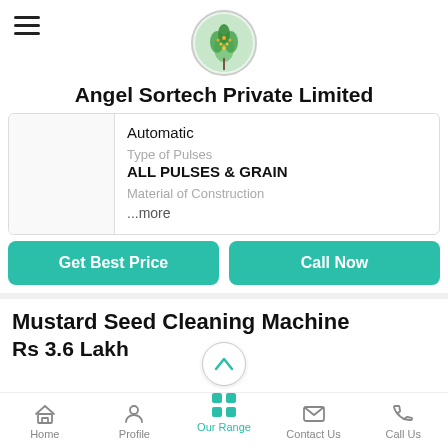[Figure (logo): Circular logo with green grain/wheat plant image, bordered circle]
Angel Sortech Private Limited
Automatic
Type of Pulses
ALL PULSES & GRAIN
Material of Construction
...more
Get Best Price
Call Now
Mustard Seed Cleaning Machine
Rs 3.6 Lakh
Home   Profile   Our Range   Contact Us   Call Us